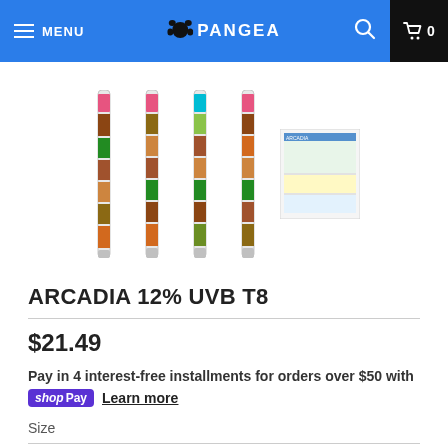MENU | PANGEA | 0
[Figure (photo): Five product thumbnail images of Arcadia 12% UVB T8 fluorescent tubes arranged horizontally. Four show narrow vertical tube packaging and one shows a product specification chart.]
ARCADIA 12% UVB T8
$21.49
Pay in 4 interest-free installments for orders over $50 with
shop Pay  Learn more
Size